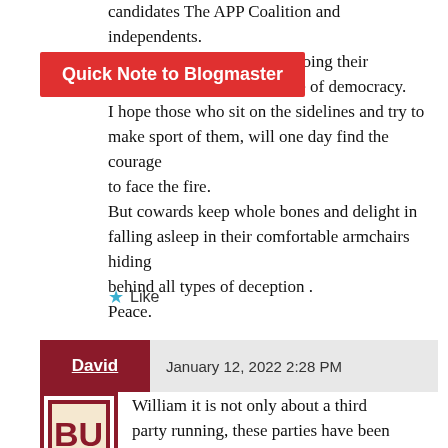candidates The APP Coalition and independents. men are doing their the name of democracy. I hope those who sit on the sidelines and try to make sport of them, will one day find the courage to face the fire. But cowards keep whole bones and delight in falling asleep in their comfortable armchairs hiding behind all types of deception . Peace.
Quick Note to Blogmaster
★ Like
David  January 12, 2022 2:28 PM
William it is not only about a third party running, these parties have been unable to differentiate themselves by